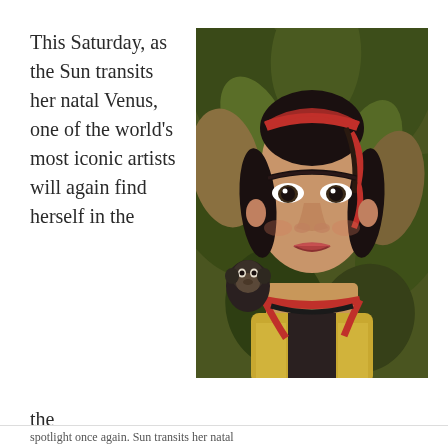This Saturday, as the Sun transits her natal Venus, one of the world's most iconic artists will again find herself in the
[Figure (illustration): Painting of Frida Kahlo (Self-Portrait with Monkey style) — a woman with a red ribbon headband and braided dark hair adorned with red ribbons, prominent eyebrows, wearing a yellow embroidered top with red ribbon collar, with a small monkey on her left shoulder, set against a background of large tropical leaves.]
spotlight once again. Sun transits her natal